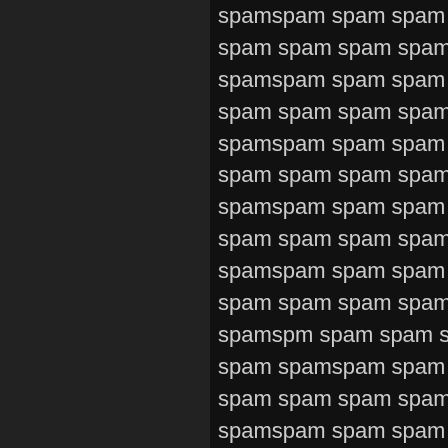spamspam spam spam spam spam spam spam spam spam spam spamspam spam spam spam spam spam spam spam spam spam spamspam spam spam spam spam spam spam spam spam spam spamspam spam spam spam spam spam spam spam spam spam spamspam spam spam spam spam spam spam spam spam spam spamspm spam spam spam spam spam spamspam spam spam spam spam spam spam spam spam spam spam spamspam spam spam spam spam spam spam spam spam spam spamspam spam spam spam spam spam spam spam spam spam spamspam spam spam spam spam spam spam spam spam spam spamspam spam spam spam spam spamspam spam spam spam spam spam